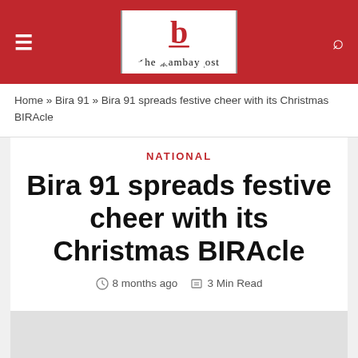The Cambay Post
Home » Bira 91 » Bira 91 spreads festive cheer with its Christmas BIRAcle
NATIONAL
Bira 91 spreads festive cheer with its Christmas BIRAcle
8 months ago   3 Min Read
[Figure (photo): Article image placeholder]